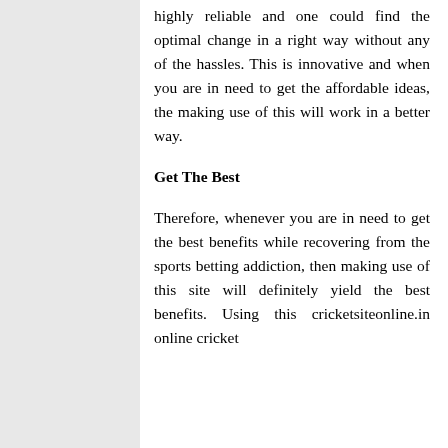highly reliable and one could find the optimal change in a right way without any of the hassles. This is innovative and when you are in need to get the affordable ideas, the making use of this will work in a better way.
Get The Best
Therefore, whenever you are in need to get the best benefits while recovering from the sports betting addiction, then making use of this site will definitely yield the best benefits. Using this cricketsiteonline.in online cricket